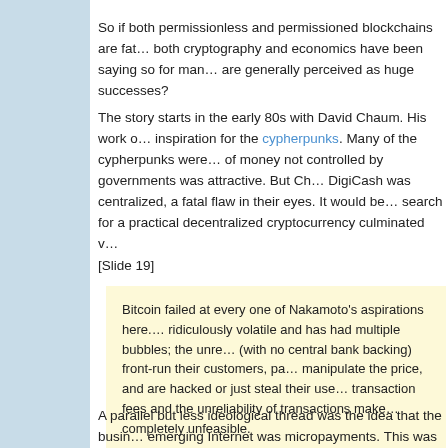So if both permissionless and permissioned blockchains are fat... both cryptography and economics have been saying so for man... are generally perceived as huge successes?
The story starts in the early 80s with David Chaum. His work on inspiration for the cypherpunks. Many of the cypherpunks were of money not controlled by governments was attractive. But Ch... DigiCash was centralized, a fatal flaw in their eyes. It would be search for a practical decentralized cryptocurrency culminated v
[Slide 19]
Bitcoin failed at every one of Nakamoto's aspirations here. ridiculously volatile and has had multiple bubbles; the unre (with no central bank backing) front-run their customers, pa manipulate the price, and are hacked or just steal their use transaction fees and the unreliability of transactions make completely unfeasible.

David Gerard
A parallel but less ideological thread was the idea that the busi... emerging Internet was micropayments. This was among the fea...